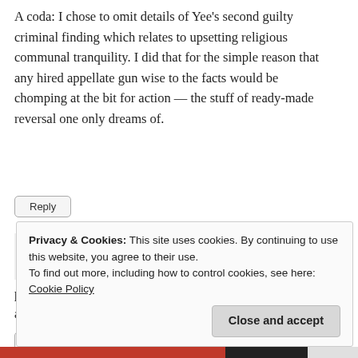A coda: I chose to omit details of Yee’s second guilty criminal finding which relates to upsetting religious communal tranquility. I did that for the simple reason that any hired appellate gun wise to the facts would be chomping at the bit for action — the stuff of ready-made reversal one only dreams of.
Reply
MAY 25, 2015 - 9:52 PM
lolz
plot twist: all the ridiculous comments about “PAP gangs” are actually by roy to drum up viewership! lol
Reply
Privacy & Cookies: This site uses cookies. By continuing to use this website, you agree to their use.
To find out more, including how to control cookies, see here: Cookie Policy
Close and accept